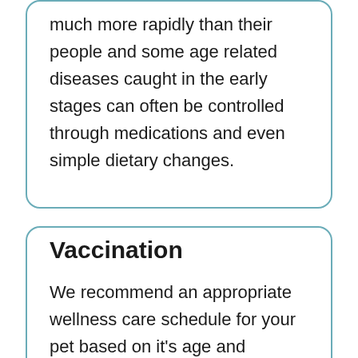much more rapidly than their people and some age related diseases caught in the early stages can often be controlled through medications and even simple dietary changes.
Vaccination
We recommend an appropriate wellness care schedule for your pet based on it's age and lifestyle. Please visit our Pet Care pages for more information.